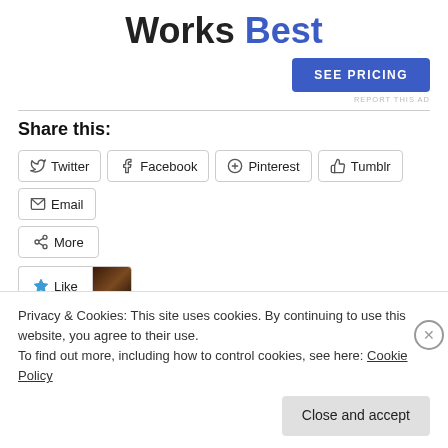Works Best
[Figure (other): SEE PRICING button (blue CTA button)]
REPORT THIS AD
Share this:
Twitter
Facebook
Pinterest
Tumblr
Email
More
Like
Privacy & Cookies: This site uses cookies. By continuing to use this website, you agree to their use.
To find out more, including how to control cookies, see here: Cookie Policy
Close and accept